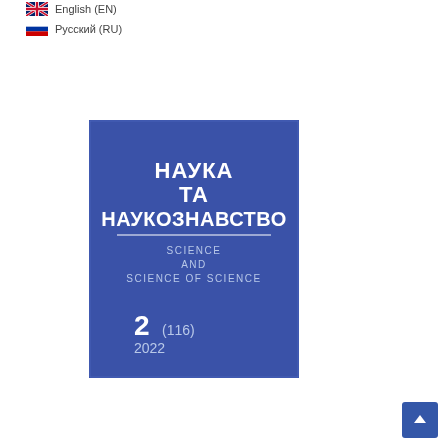English (EN)
Русский (RU)
[Figure (illustration): Journal cover of 'Наука та Наукознавство / Science and Science of Science', issue 2(116) 2022, blue cover with white text]
[Figure (other): Scroll to top button, blue square with upward arrow]